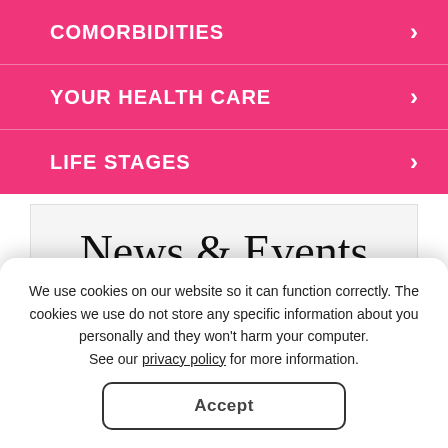COMORBIDITIES ›
YOUR HEALTH CARE ›
LIFE STAGES ›
News & Events
ARTHRITIS FOUNDATION
We use cookies on our website so it can function correctly. The cookies we use do not store any specific information about you personally and they won't harm your computer. See our privacy policy for more information.
Accept